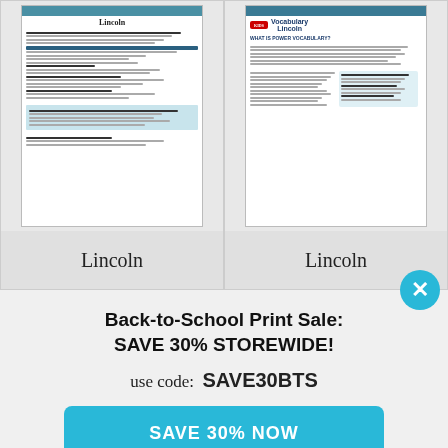[Figure (screenshot): Thumbnail of Lincoln teacher magazine/resource page with teal header and document content]
[Figure (screenshot): Thumbnail of Lincoln Power Vocabulary resource page with teal header]
Lincoln
Lincoln
Back-to-School Print Sale:
SAVE 30% STOREWIDE!
use code:  SAVE30BTS
SAVE 30% NOW